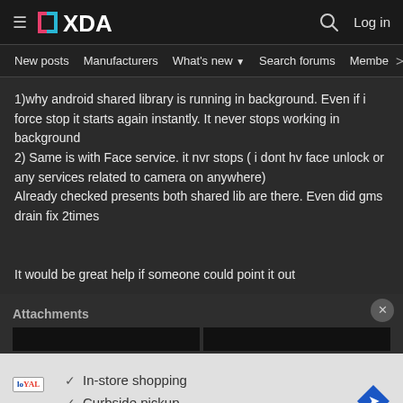XDA — Navigation bar with hamburger menu, XDA logo, search icon, Log in
New posts  Manufacturers  What's new  Search forums  Membe  >
1)why android shared library is running in background. Even if i force stop it starts again instantly. It never stops working in background
2) Same is with Face service. it nvr stops ( i dont hv face unlock or any services related to camera on anywhere)
Already checked presents both shared lib are there. Even did gms drain fix 2times


It would be great help if someone could point it out
Attachments
[Figure (screenshot): Partial screenshot of attachment images in dark area]
[Figure (infographic): Advertisement showing: In-store shopping, Curbside pickup, Delivery with Loyal logo and blue diamond arrow icon]